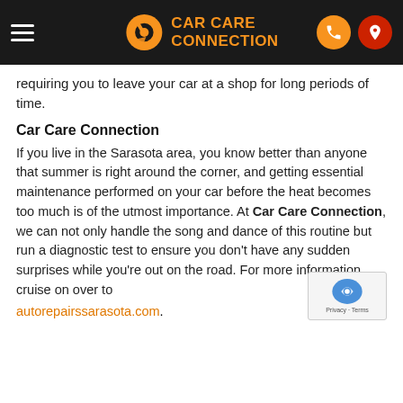Car Care Connection
requiring you to leave your car at a shop for long periods of time.
Car Care Connection
If you live in the Sarasota area, you know better than anyone that summer is right around the corner, and getting essential maintenance performed on your car before the heat becomes too much is of the utmost importance. At Car Care Connection, we can not only handle the song and dance of this routine but run a diagnostic test to ensure you don't have any sudden surprises while you're out on the road. For more information, cruise on over to autorepairssarasota.com.